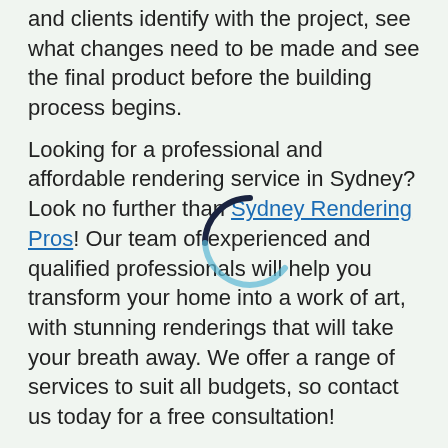and clients identify with the project, see what changes need to be made and see the final product before the building process begins.
Looking for a professional and affordable rendering service in Sydney? Look no further than Sydney Rendering Pros! Our team of experienced and qualified professionals will help you transform your home into a work of art, with stunning renderings that will take your breath away. We offer a range of services to suit all budgets, so contact us today for a free consultation!
[Figure (other): A loading spinner graphic overlaid on the text, partially transparent with dark navy and light blue arcs.]
There are a few techniques that are used regularly by architects and rendering service providers to give their clients a complete overview of the design. It helps them put the client in the property before the build begins, giving them what they need to imagine living or working in the property in all types of